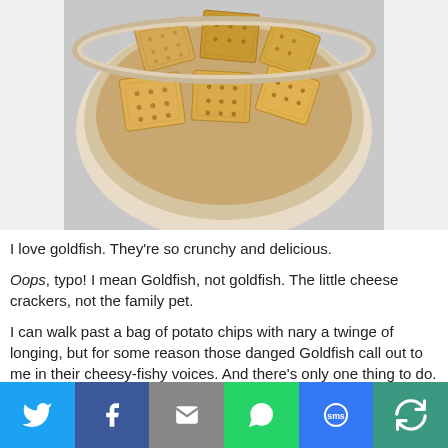[Figure (photo): A bowl filled with square/rectangular golden graham crackers photographed from above at an angle, with a light beige/cream colored bowl on a light gray background.]
I love goldfish. They're so crunchy and delicious.
Oops, typo! I mean Goldfish, not goldfish. The little cheese crackers, not the family pet.
I can walk past a bag of potato chips with nary a twinge of longing, but for some reason those danged Goldfish call out to me in their cheesy-fishy voices. And there's only one thing to do. Eat them to shut them up. Heh. Serves them right.
I won't say that these crackers are exactly like Goldfish, but they've got a nice crunch and cheesy flavor. I didn't have a teeny-tiny fish-shaped cookie cutter, either, so I cut them into
[Figure (infographic): Social media sharing bar with 6 buttons: Twitter (blue bird icon), Facebook (blue f icon), Email (gray envelope icon), WhatsApp (green phone icon), SMS (blue SMS icon), More (teal circular arrow icon).]